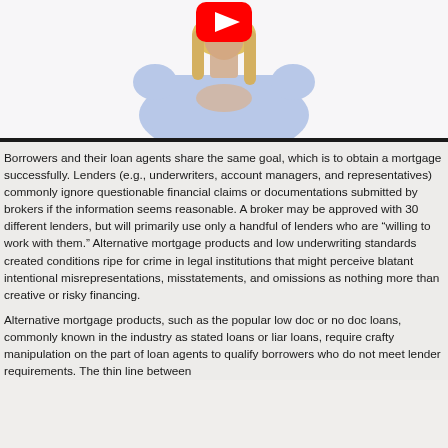[Figure (photo): Video thumbnail showing a woman with blonde hair in a light blue dress with hands clasped in front. A YouTube play button logo is visible in the upper center of the image.]
Borrowers and their loan agents share the same goal, which is to obtain a mortgage successfully. Lenders (e.g., underwriters, account managers, and representatives) commonly ignore questionable financial claims or documentations submitted by brokers if the information seems reasonable. A broker may be approved with 30 different lenders, but will primarily use only a handful of lenders who are “willing to work with them.” Alternative mortgage products and low underwriting standards created conditions ripe for crime in legal institutions that might perceive blatant intentional misrepresentations, misstatements, and omissions as nothing more than creative or risky financing.
Alternative mortgage products, such as the popular low doc or no doc loans, commonly known in the industry as stated loans or liar loans, require crafty manipulation on the part of loan agents to qualify borrowers who do not meet lender requirements. The thin line between creative financing and outright criminal fraud in a gray area or should be